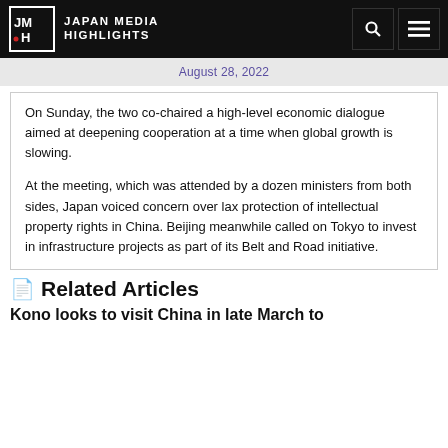JMH JAPAN MEDIA HIGHLIGHTS
August 28, 2022
On Sunday, the two co-chaired a high-level economic dialogue aimed at deepening cooperation at a time when global growth is slowing.
At the meeting, which was attended by a dozen ministers from both sides, Japan voiced concern over lax protection of intellectual property rights in China. Beijing meanwhile called on Tokyo to invest in infrastructure projects as part of its Belt and Road initiative.
Related Articles
Kono looks to visit China in late March to